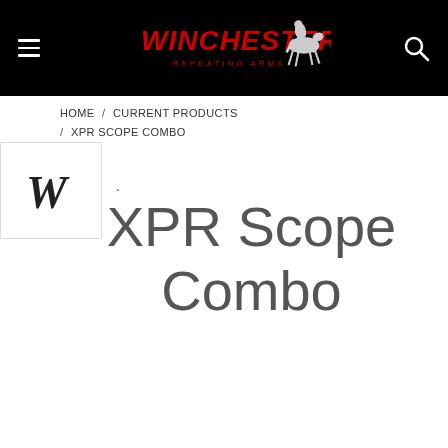[Figure (logo): Winchester Repeating Arms website header with black background, hamburger menu icon on left, Winchester Repeating Arms logo with horse and rider in center, and search icon on right]
HOME / CURRENT PRODUCTS / XPR SCOPE COMBO
[Figure (logo): Winchester W logo mark in italic bold style inside a white rounded rectangle thumbnail]
XPR Scope Combo